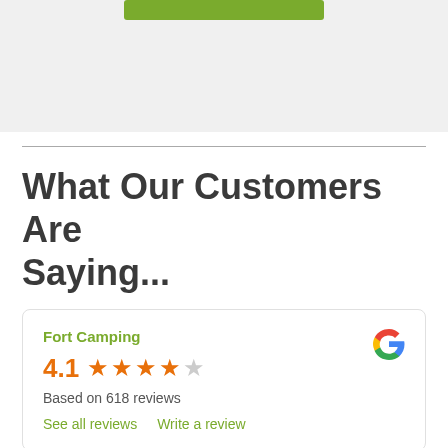[Figure (other): Green button/banner at top of page on gray background]
What Our Customers Are Saying...
[Figure (other): Google review card for Fort Camping showing 4.1 stars based on 618 reviews, with links to See all reviews and Write a review]